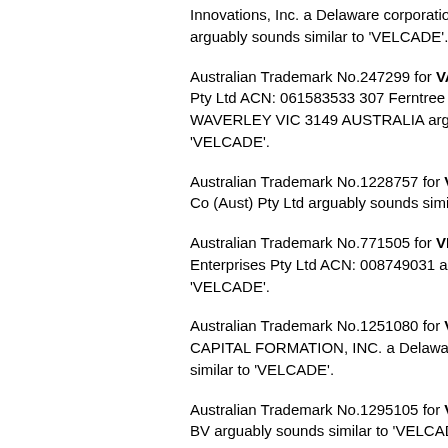Innovations, Inc. a Delaware corporation filed arguably sounds similar to 'VELCADE'.
Australian Trademark No.247299 for VALE... Pty Ltd ACN: 061583533 307 Ferntree Gull... WAVERLEY VIC 3149 AUSTRALIA arguably sounds similar to 'VELCADE'.
Australian Trademark No.1228757 for VELC... Co (Aust) Pty Ltd arguably sounds similar to 'VELCADE'.
Australian Trademark No.771505 for VELO... Enterprises Pty Ltd ACN: 008749031 arguably sounds similar to 'VELCADE'.
Australian Trademark No.1251080 for VELC... CAPITAL FORMATION, INC. a Delaware corporation arguably sounds similar to 'VELCADE'.
Australian Trademark No.1295105 for VELC... BV arguably sounds similar to 'VELCADE'.
Australian Trademark No.1299620 for VELC... Products Pty Ltd filed on 18 May 2009 arguably sounds similar to 'VELCADE'.